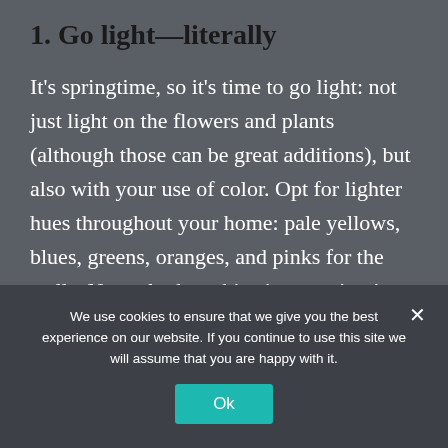1. Go light—literally
It's springtime, so it's time to go light: not just light on the flowers and plants (although those can be great additions), but also with your use of color. Opt for lighter hues throughout your home: pale yellows, blues, greens, oranges, and pinks for the walls. Not only does this give a springtime vibe to the room, but it also makes the room feel open and warm. If you want some
We use cookies to ensure that we give you the best experience on our website. If you continue to use this site we will assume that you are happy with it.
Ok